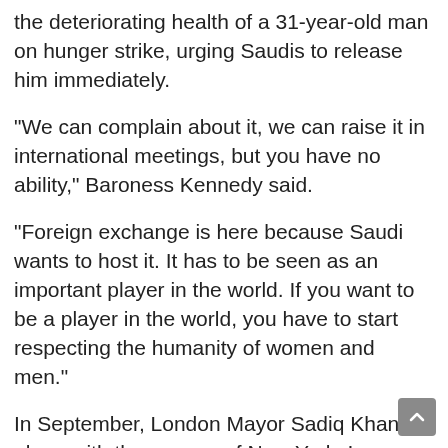the deteriorating health of a 31-year-old man on hunger strike, urging Saudis to release him immediately.
“We can complain about it, we can raise it in international meetings, but you have no ability,” Baroness Kennedy said.
“Foreign exchange is here because Saudi wants to host it. It has to be seen as an important player in the world. If you want to be a player in the world, you have to start respecting the humanity of women and men.”
In September, London Mayor Sadiq Khan, along with the mayors of New York, Los Angeles and Paris, boycotted the Urban 20 Mayor Summit hosted by Saudi Arabia due to the G20 chairmanship.